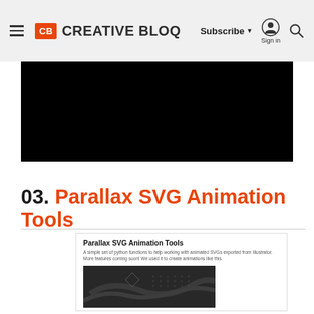Creative Bloq — Subscribe | Sign in
[Figure (screenshot): Black video/media embed block]
03. Parallax SVG Animation Tools
[Figure (screenshot): Screenshot of Parallax SVG Animation Tools GitHub/project page showing title, description, and a dark preview image]